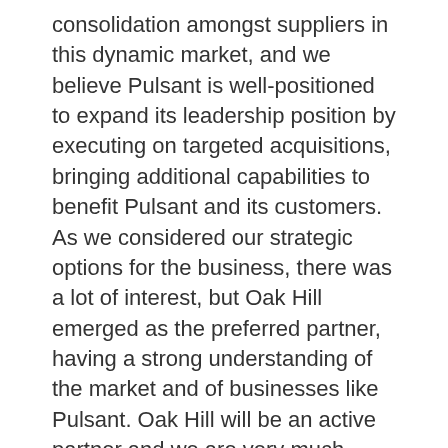consolidation amongst suppliers in this dynamic market, and we believe Pulsant is well-positioned to expand its leadership position by executing on targeted acquisitions, bringing additional capabilities to benefit Pulsant and its customers. As we considered our strategic options for the business, there was a lot of interest, but Oak Hill emerged as the preferred partner, having a strong understanding of the market and of businesses like Pulsant. Oak Hill will be an active partner and we are very much looking forward to working with them. I would also like to thank BDC, which has been an excellent investment partner. The business has made significant progress under its ownership, increasing profitability and cash flow, and broadening and strengthening the services and